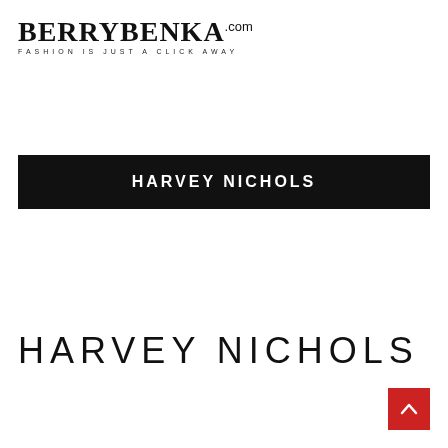[Figure (logo): BerryBenka.com logo with tagline FASHION IS JUST A CLICK AWAY]
[Figure (logo): Harvey Nichols brand banner — white text on black background]
[Figure (logo): Harvey Nichols text logo in large light-weight uppercase letters]
[Figure (other): Red back-to-top button with upward arrow icon]